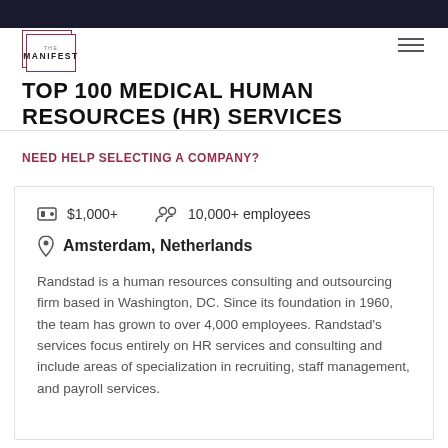THE MANIFEST
TOP 100 MEDICAL HUMAN RESOURCES (HR) SERVICES
NEED HELP SELECTING A COMPANY?
$1,000+   10,000+ employees   Amsterdam, Netherlands
Randstad is a human resources consulting and outsourcing firm based in Washington, DC. Since its foundation in 1960, the team has grown to over 4,000 employees. Randstad's services focus entirely on HR services and consulting and include areas of specialization in recruiting, staff management, and payroll services.